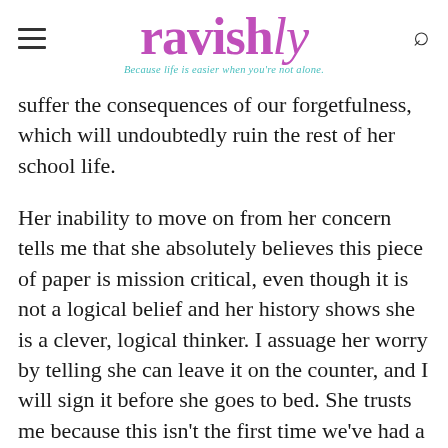ravishly — Because life is easier when you're not alone.
suffer the consequences of our forgetfulness, which will undoubtedly ruin the rest of her school life.
Her inability to move on from her concern tells me that she absolutely believes this piece of paper is mission critical, even though it is not a logical belief and her history shows she is a clever, logical thinker. I assuage her worry by telling she can leave it on the counter, and I will sign it before she goes to bed. She trusts me because this isn't the first time we've had a conversation like this.